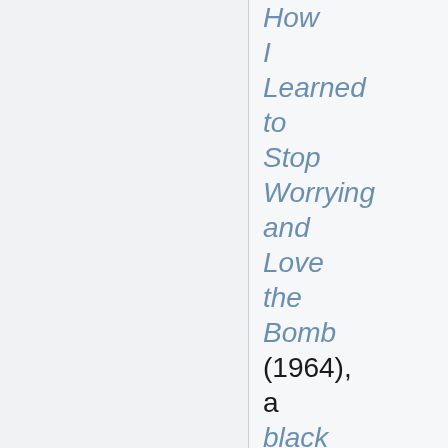How I Learned to Stop Worrying and Love the Bomb (1964), a black comedy by Stanley